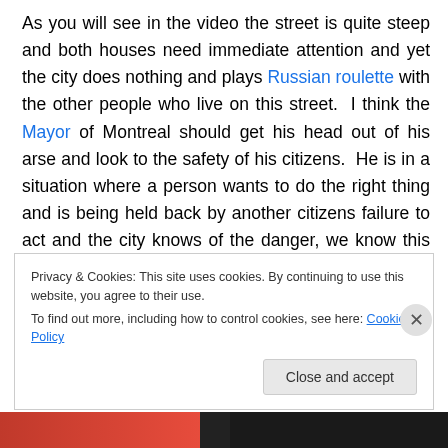As you will see in the video the street is quite steep and both houses need immediate attention and yet the city does nothing and plays Russian roulette with the other people who live on this street. I think the Mayor of Montreal should get his head out of his arse and look to the safety of his citizens. He is in a situation where a person wants to do the right thing and is being held back by another citizens failure to act and the city knows of the danger, we know this because the city has condemned the building, evacuated it and lastly put up signs to prevent anyone parking in front of it, but none of this will stop
Privacy & Cookies: This site uses cookies. By continuing to use this website, you agree to their use.
To find out more, including how to control cookies, see here: Cookie Policy
Close and accept